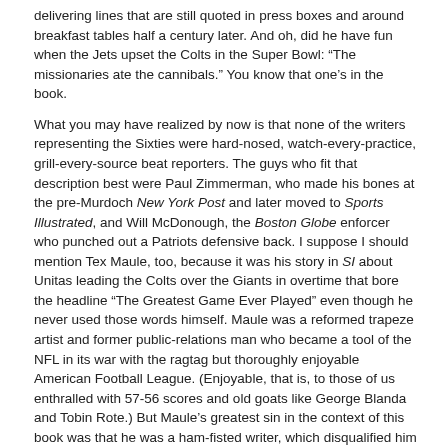delivering lines that are still quoted in press boxes and around breakfast tables half a century later. And oh, did he have fun when the Jets upset the Colts in the Super Bowl: “The missionaries ate the cannibals.” You know that one’s in the book.
What you may have realized by now is that none of the writers representing the Sixties were hard-nosed, watch-every-practice, grill-every-source beat reporters. The guys who fit that description best were Paul Zimmerman, who made his bones at the pre-Murdoch New York Post and later moved to Sports Illustrated, and Will McDonough, the Boston Globe enforcer who punched out a Patriots defensive back. I suppose I should mention Tex Maule, too, because it was his story in SI about Unitas leading the Colts over the Giants in overtime that bore the headline “The Greatest Game Ever Played” even though he never used those words himself. Maule was a reformed trapeze artist and former public-relations man who became a tool of the NFL in its war with the ragtag but thoroughly enjoyable American Football League. (Enjoyable, that is, to those of us enthralled with 57-56 scores and old goats like George Blanda and Tobin Rote.) But Maule’s greatest sin in the context of this book was that he was a ham-fisted writer, which disqualified him from inclusion. Alas, Zimmerman and McDonough had similar artistic deficiencies, so their prose didn’t make the cut, either, and that’s unfortunate. Without the digging they did—Zim on the intricacies of the game, McDonough on front-office shenanigans—the stylists who followed them never would have had such a well-lit path to travel.